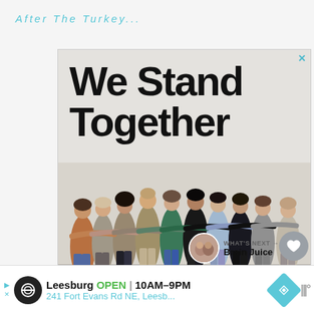After The Turkey...
[Figure (photo): Advertisement image showing a group of diverse people standing together with arms around each other, backs to camera, with large bold text 'We Stand Together' above them. A close button (X) appears in the top right of the ad. Small like (heart) and share buttons appear to the right of the image. A 'What's Next' section with a couple's photo thumbnail and text 'Brain Juice' appears below right.]
WHAT'S NEXT → Brain Juice
Leesburg OPEN 10AM–9PM 241 Fort Evans Rd NE, Leesb...